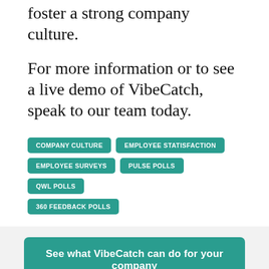foster a strong company culture.
For more information or to see a live demo of VibeCatch, speak to our team today.
COMPANY CULTURE
EMPLOYEE STATISFACTION
EMPLOYEE SURVEYS
PULSE POLLS
QWL POLLS
360 FEEDBACK POLLS
See what VibeCatch can do for your company
Posted by Juha Huttunen
Juha is a Co-founder and the CEO of